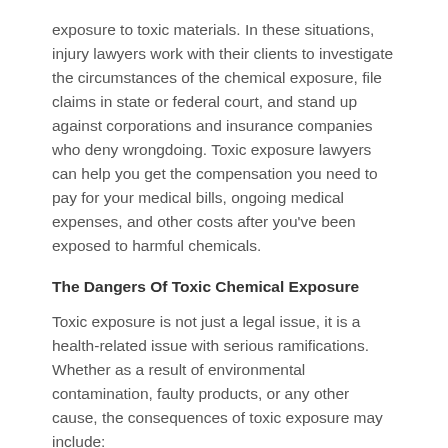exposure to toxic materials. In these situations, injury lawyers work with their clients to investigate the circumstances of the chemical exposure, file claims in state or federal court, and stand up against corporations and insurance companies who deny wrongdoing. Toxic exposure lawyers can help you get the compensation you need to pay for your medical bills, ongoing medical expenses, and other costs after you've been exposed to harmful chemicals.
The Dangers Of Toxic Chemical Exposure
Toxic exposure is not just a legal issue, it is a health-related issue with serious ramifications. Whether as a result of environmental contamination, faulty products, or any other cause, the consequences of toxic exposure may include: